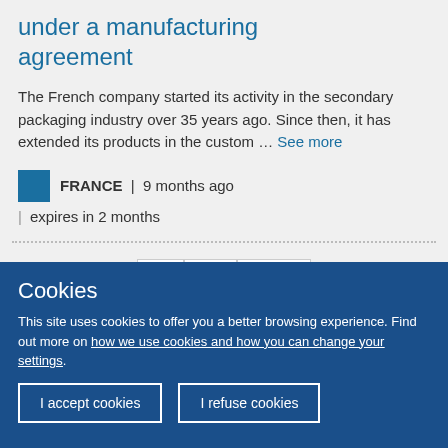under a manufacturing agreement
The French company started its activity in the secondary packaging industry over 35 years ago. Since then, it has extended its products in the custom ... See more
FRANCE | 9 months ago | expires in 2 months
1 ► last »
Cookies
This site uses cookies to offer you a better browsing experience. Find out more on how we use cookies and how you can change your settings.
I accept cookies
I refuse cookies